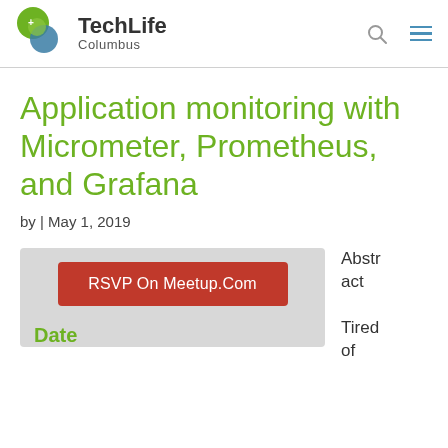TechLife Columbus
Application monitoring with Micrometer, Prometheus, and Grafana
by | May 1, 2019
[Figure (other): Gray card with red RSVP On Meetup.Com button and green Date label]
Abstract

Tired of